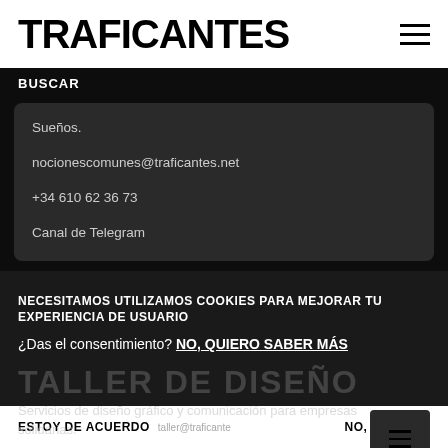TRAFICANTES
BUSCAR
Sueños.

nocionescomunes@traficantes.net

+34 610 62 36 73

Canal de Telegram
NECESITAMOS UTILIZAMOS COOKIES PARA MEJORAR TU EXPERIENCIA DE USUARIO
¿Das el consentimiento? NO, QUIERO SABER MÁS
Servicios de diseño gráfico y comunicación para empresas solidarias.
ESTOY DE ACUERDO
NO, GRACIAS